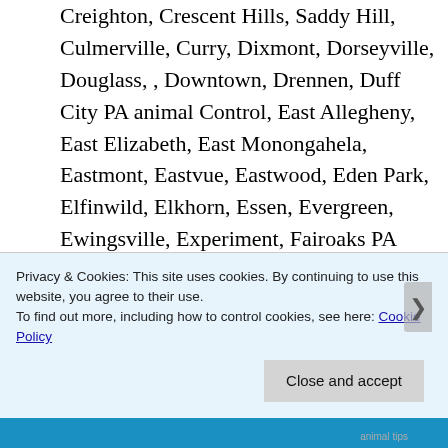Creighton, Crescent Hills, Saddy Hill, Culmerville, Curry, Dixmont, Dorseyville, Douglass, , Downtown, Drennen, Duff City PA animal Control, East Allegheny, East Elizabeth, East Monongahela, Eastmont, Eastvue, Eastwood, Eden Park, Elfinwild, Elkhorn, Essen, Evergreen, Ewingsville, Experiment, Fairoaks PA animal Control, Fairview Heights
Privacy & Cookies: This site uses cookies. By continuing to use this website, you agree to their use.
To find out more, including how to control cookies, see here: Cookie Policy